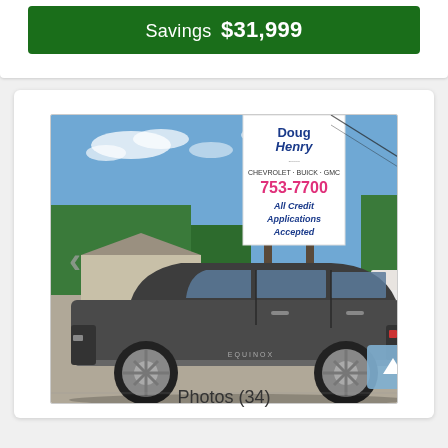Savings $31,999
[Figure (photo): Side profile photo of a dark gray Chevrolet Equinox SUV parked in a dealer lot. In the background is the Doug Henry Chevrolet Buick GMC dealership sign showing phone number 753-7700 and text 'All Credit Applications Accepted'. Blue sky with scattered clouds visible.]
Photos (34)